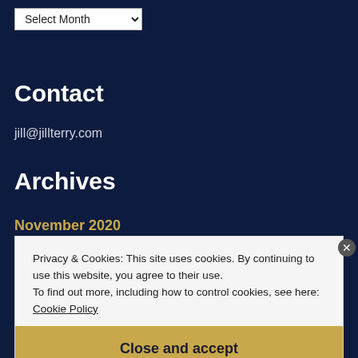[Figure (screenshot): Dropdown select widget labeled 'Select Month' with a chevron indicator]
Contact
jill@jillterry.com
Archives
November 2020
October 2020
Privacy & Cookies: This site uses cookies. By continuing to use this website, you agree to their use.
To find out more, including how to control cookies, see here: Cookie Policy
Close and accept